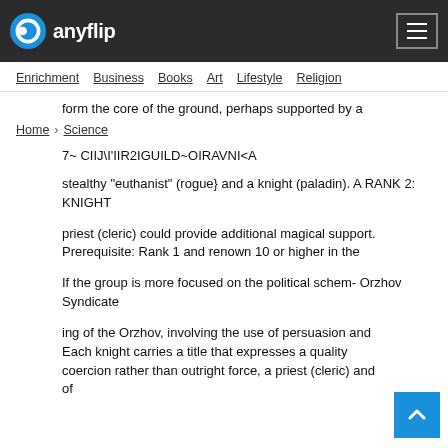anyflip
Enrichment  Business  Books  Art  Lifestyle  Religion
form the core of the ground, perhaps supported by a
Home › Science
7~ CIIJ\I'IIR2IGUILD~OIRAVNI<A
stealthy "euthanist" (rogue} and a knight (paladin). A RANK 2: KNIGHT
priest (cleric) could provide additional magical support. Prerequisite: Rank 1 and renown 10 or higher in the
If the group is more focused on the political schem- Orzhov Syndicate
ing of the Orzhov, involving the use of persuasion and Each knight carries a title that expresses a quality coercion rather than outright force, a priest (cleric) and of